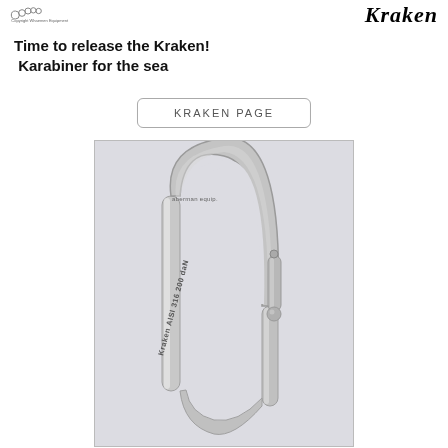Copyright Whaemen Equipment — Kraken
Time to release the Kraken!
 Karabiner for the sea
KRAKEN PAGE
[Figure (photo): A stainless steel Kraken karabiner / snap hook, engraved with 'Kraken AISI 316 200 daN', photographed against a light grey background. The carabiner has a large oval loop on top and a spring-loaded gate at the bottom.]